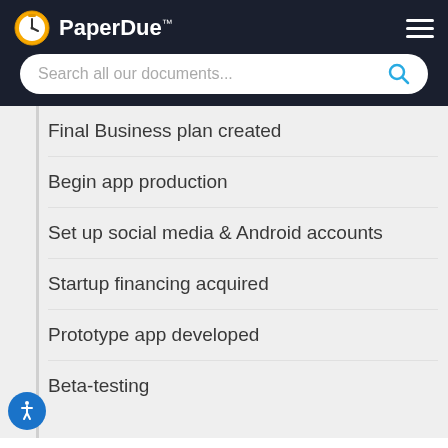PaperDue™
Search all our documents...
Final Business plan created
Begin app production
Set up social media & Android accounts
Startup financing acquired
Prototype app developed
Beta-testing